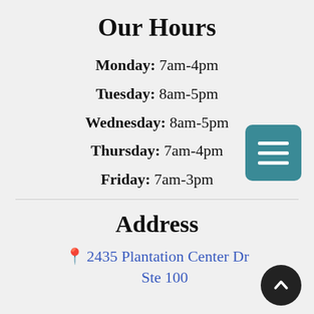Our Hours
Monday: 7am-4pm
Tuesday: 8am-5pm
Wednesday: 8am-5pm
Thursday: 7am-4pm
Friday: 7am-3pm
Address
2435 Plantation Center Dr Ste 100